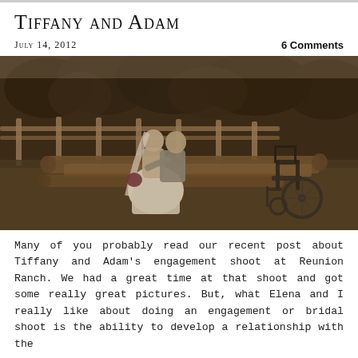Tiffany and Adam
July 14, 2012
6 Comments
[Figure (photo): Sepia-toned wedding photo of a bride and groom sitting together on wooden logs outdoors, with a wooden fence and trees in background. A wheelchair is visible to the right of the couple. The bride wears a white dress and holds a red bouquet; the groom wears a gray suit.]
Many of you probably read our recent post about Tiffany and Adam's engagement shoot at Reunion Ranch. We had a great time at that shoot and got some really great pictures. But, what Elena and I really like about doing an engagement or bridal shoot is the ability to develop a relationship with the